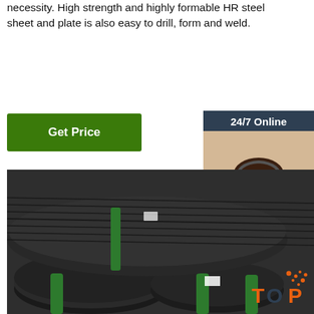necessity. High strength and highly formable HR steel sheet and plate is also easy to drill, form and weld.
Get Price
24/7 Online
[Figure (photo): Customer service representative with headset, smiling]
Click here for free chat !
QUOTATION
[Figure (photo): Coils of steel wire/rods bundled with green straps in a warehouse]
[Figure (logo): TOP logo with orange dots and text]